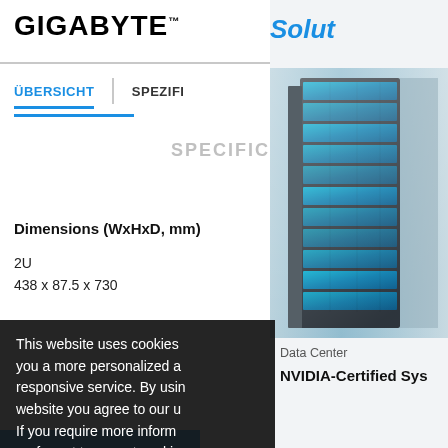GIGABYTE™
Solut
ÜBERSICHT | SPEZIFI
SPECIFIC
Dimensions (WxHxD, mm)
2U
438 x 87.5 x 730
This website uses cookies you a more personalized a responsive service. By usin website you agree to our u If you require more inform prefer not to accept cookie
[Figure (photo): Data center server rack with blue-lit server units visible through glass]
Data Center
NVIDIA-Certified Sys